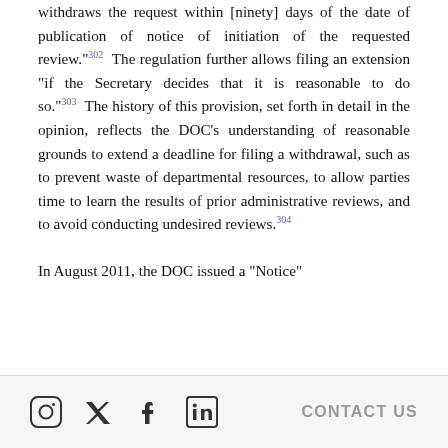withdraws the request within [ninety] days of the date of publication of notice of initiation of the requested review.”³°²  The regulation further allows filing an extension “if the Secretary decides that it is reasonable to do so.”³°³  The history of this provision, set forth in detail in the opinion, reflects the DOC’s understanding of reasonable grounds to extend a deadline for filing a withdrawal, such as to prevent waste of departmental resources, to allow parties time to learn the results of prior administrative reviews, and to avoid conducting undesired reviews.³°⁴  In August 2011, the DOC issued a “Notice”
Social icons: Instagram, Twitter, Facebook, LinkedIn | CONTACT US